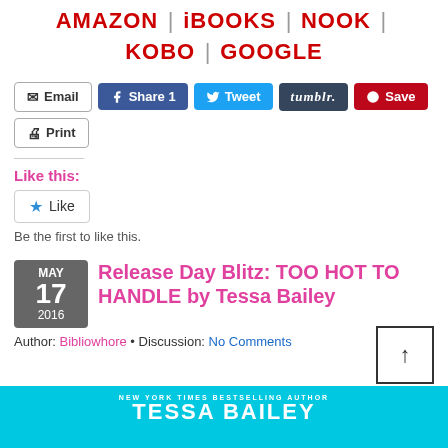AMAZON | iBOOKS | NOOK | KOBO | GOOGLE
[Figure (screenshot): Social share buttons: Email, Share 1 (Facebook), Tweet, tumblr., Save (Pinterest), Print]
Like this:
[Figure (screenshot): WordPress Like button widget with star icon and 'Like' label]
Be the first to like this.
Release Day Blitz: TOO HOT TO HANDLE by Tessa Bailey
Author: Bibliowhore • Discussion: No Comments
[Figure (screenshot): Cyan banner with text 'NEW YORK TIMES BESTSELLING AUTHOR' and 'TESSA BAILEY' in white]